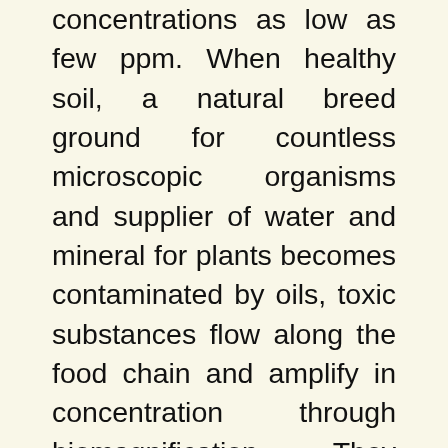concentrations as low as few ppm. When healthy soil, a natural breed ground for countless microscopic organisms and supplier of water and mineral for plants becomes contaminated by oils, toxic substances flow along the food chain and amplify in concentration through biomagnification. They finally enter human bodies and accumulate in adipose tissues to a life-threatening amount in the